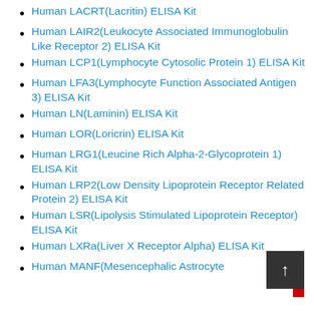Human LACRT(Lacritin) ELISA Kit
Human LAIR2(Leukocyte Associated Immunoglobulin Like Receptor 2) ELISA Kit
Human LCP1(Lymphocyte Cytosolic Protein 1) ELISA Kit
Human LFA3(Lymphocyte Function Associated Antigen 3) ELISA Kit
Human LN(Laminin) ELISA Kit
Human LOR(Loricrin) ELISA Kit
Human LRG1(Leucine Rich Alpha-2-Glycoprotein 1) ELISA Kit
Human LRP2(Low Density Lipoprotein Receptor Related Protein 2) ELISA Kit
Human LSR(Lipolysis Stimulated Lipoprotein Receptor) ELISA Kit
Human LXRa(Liver X Receptor Alpha) ELISA Kit
Human MANF(Mesencephalic Astrocyte…